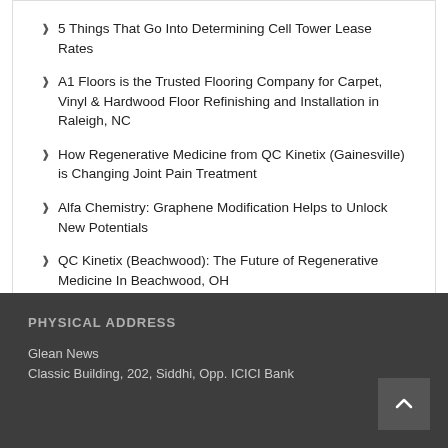5 Things That Go Into Determining Cell Tower Lease Rates
A1 Floors is the Trusted Flooring Company for Carpet, Vinyl & Hardwood Floor Refinishing and Installation in Raleigh, NC
How Regenerative Medicine from QC Kinetix (Gainesville) is Changing Joint Pain Treatment
Alfa Chemistry: Graphene Modification Helps to Unlock New Potentials
QC Kinetix (Beachwood): The Future of Regenerative Medicine In Beachwood, OH
PHYSICAL ADDRESS
Glean News
Classic Building, 202, Siddhi, Opp. ICICI Bank